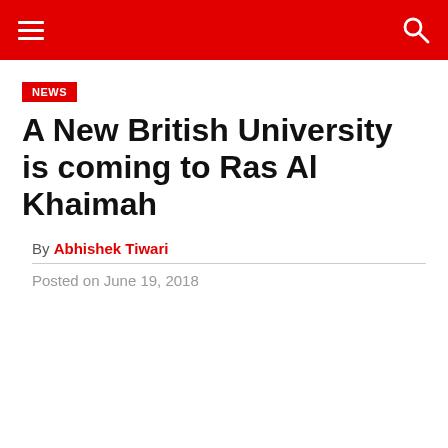NEWS
A New British University is coming to Ras Al Khaimah
By Abhishek Tiwari
Posted on June 19, 2018